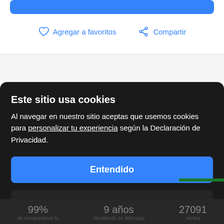[Figure (screenshot): Blue button at top of page (partially visible)]
Agregar a favoritos
Compartir
Información de la tienda
Sede oficial de Mercado Libre
Este sitio usa cookies
Al navegar en nuestro sitio aceptas que usemos cookies para personalizar tu experiencia según la Declaración de Privacidad.
Entendido
Configurar cookies
99%
de compradores lo
9 años
Vendiendo en Mercado
27091
ventos